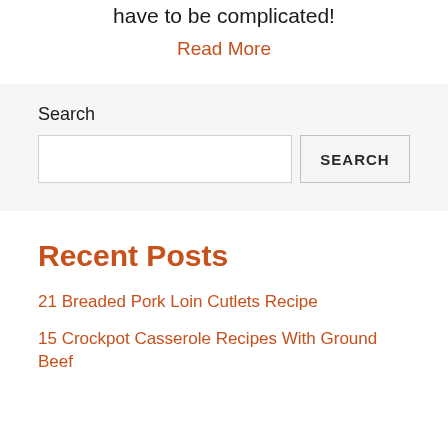have to be complicated!
Read More
Search
Recent Posts
21 Breaded Pork Loin Cutlets Recipe
15 Crockpot Casserole Recipes With Ground Beef